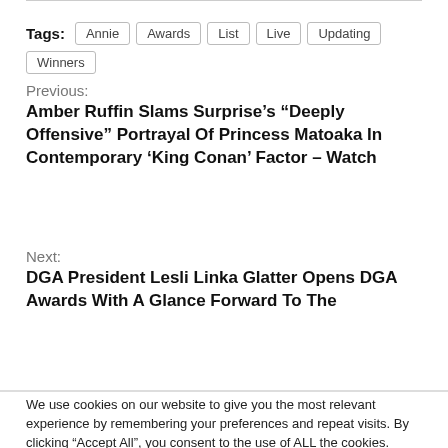Tags: Annie | Awards | List | Live | Updating | Winners
Previous:
Amber Ruffin Slams Surprise's “Deeply Offensive” Portrayal Of Princess Matoaka In Contemporary ‘King Conan’ Factor – Watch
Next:
DGA President Lesli Linka Glatter Opens DGA Awards With A Glance Forward To The
We use cookies on our website to give you the most relevant experience by remembering your preferences and repeat visits. By clicking “Accept All”, you consent to the use of ALL the cookies. However, you may visit "Cookie Settings" to provide a controlled consent.